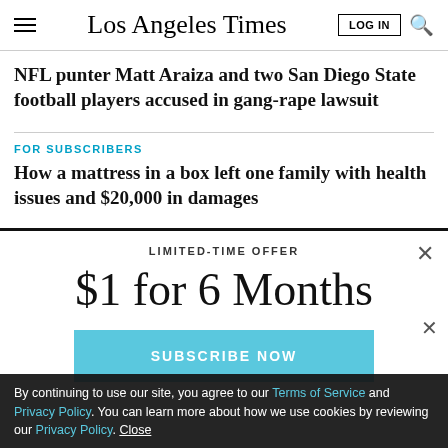Los Angeles Times
NFL punter Matt Araiza and two San Diego State football players accused in gang-rape lawsuit
FOR SUBSCRIBERS
How a mattress in a box left one family with health issues and $20,000 in damages
LIMITED-TIME OFFER
$1 for 6 Months
SUBSCRIBE NOW
By continuing to use our site, you agree to our Terms of Service and Privacy Policy. You can learn more about how we use cookies by reviewing our Privacy Policy. Close